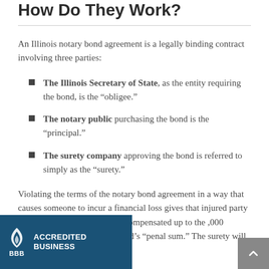How Do They Work?
An Illinois notary bond agreement is a legally binding contract involving three parties:
The Illinois Secretary of State, as the entity requiring the bond, is the “obligee.”
The notary public purchasing the bond is the “principal.”
The surety company approving the bond is referred to simply as the “surety.”
Violating the terms of the notary bond agreement in a way that causes someone to incur a financial loss gives that injured party the right to file a claim nd be compensated up to the ,000 amount, also known as the bond’s “penal sum.” The surety will determine
[Figure (logo): BBB Accredited Business logo with flame icon and text]